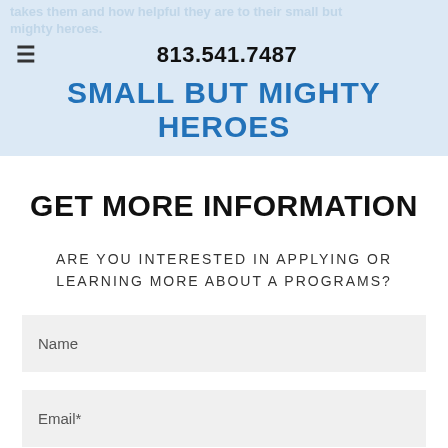takes them and how helpful they are to their small but mighty heroes.
813.541.7487
SMALL BUT MIGHTY HEROES
GET MORE INFORMATION
ARE YOU INTERESTED IN APPLYING OR LEARNING MORE ABOUT A PROGRAMS?
Name
Email*